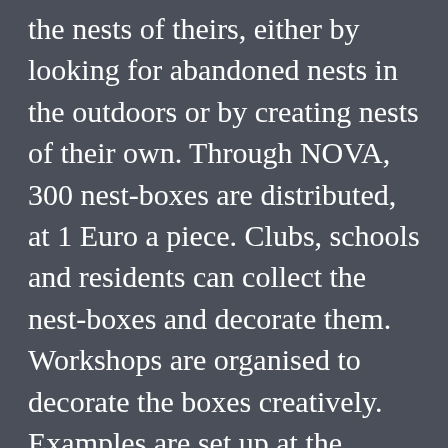the nests of theirs, either by looking for abandoned nests in the outdoors or by creating nests of their own. Through NOVA, 300 nest-boxes are distributed, at 1 Euro a piece. Clubs, schools and residents can collect the nest-boxes and decorate them. Workshops are organised to decorate the boxes creatively. Examples are set up at the different organisations. The ‘nesting’ can start. The building takes place from 15 March to 17 April 08. For six weeks, the artists, local residents, clubs, schools, etc, work on a giant NEST. During the first two weeks, the basic structure of NEST is built. Several students from the SPIA again lend a